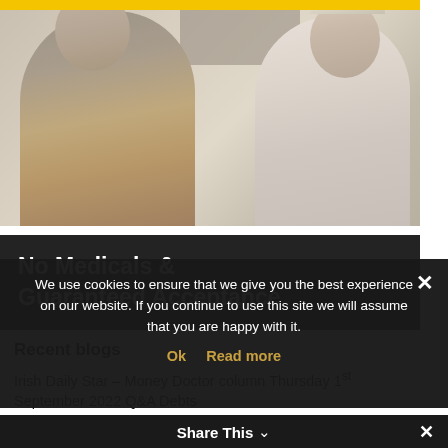[Figure (photo): Middle-aged couple smiling and laughing in a kitchen setting, with a yellow bar at the top of the image and a black caption bar at the bottom reading 'No Medicals & Guaranteed Acceptance']
Recent blogs
Irish Daily Star – Money Doctor column Thursday 1st September 2022 Q&A Debts
RTE LifeStyle – the cost of going to College
We use cookies to ensure that we give you the best experience on our website. If you continue to use this site we will assume that you are happy with it.
Ok  Read more
Share This